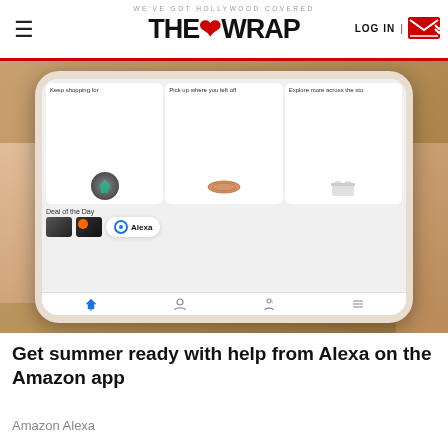WE'VE GOT HOLLYWOOD COVERED | THE WRAP | LOG IN
[Figure (photo): A hand holding a smartphone displaying the Amazon shopping app with sections: 'Keep shopping for' (plant), 'Pick up where you left off' (sunglasses), 'Explore more across the store' (sneakers), 'Deal of the Day' with camera products and Alexa button visible at bottom navigation.]
Get summer ready with help from Alexa on the Amazon app
Amazon Alexa